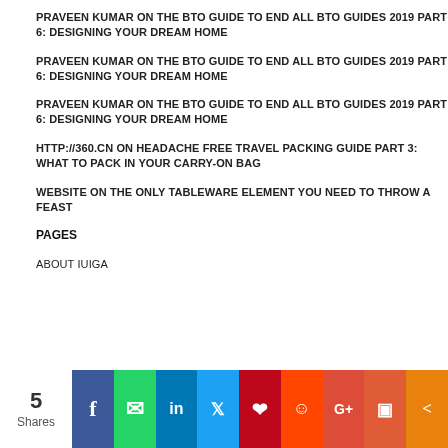PRAVEEN KUMAR ON THE BTO GUIDE TO END ALL BTO GUIDES 2019 PART 6: DESIGNING YOUR DREAM HOME
PRAVEEN KUMAR ON THE BTO GUIDE TO END ALL BTO GUIDES 2019 PART 6: DESIGNING YOUR DREAM HOME
PRAVEEN KUMAR ON THE BTO GUIDE TO END ALL BTO GUIDES 2019 PART 6: DESIGNING YOUR DREAM HOME
HTTP://360.CN ON HEADACHE FREE TRAVEL PACKING GUIDE PART 3: WHAT TO PACK IN YOUR CARRY-ON BAG
WEBSITE ON THE ONLY TABLEWARE ELEMENT YOU NEED TO THROW A FEAST
PAGES
ABOUT IUIGA
[Figure (infographic): Social sharing bar showing 5 shares with icons for Facebook, WhatsApp, LinkedIn, Twitter, Pinterest, Reddit, Google+, Mix, and a share icon]